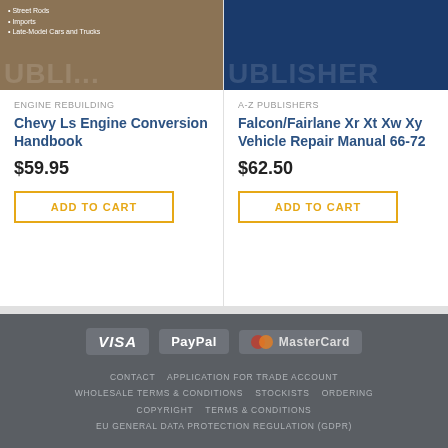[Figure (photo): Book cover image for Chevy Ls Engine Conversion Handbook with monster truck on brown/earthy background, bullet points listing Street Rods, Imports, Late-Model Cars and Trucks]
ENGINE REBUILDING
Chevy Ls Engine Conversion Handbook
$59.95
ADD TO CART
[Figure (photo): Book cover image for Falcon/Fairlane Xr Xt Xw Xy Vehicle Repair Manual 66-72 with vehicle on dark blue background, text about dismantling and rebuilding vehicles]
A-Z PUBLISHERS
Falcon/Fairlane Xr Xt Xw Xy Vehicle Repair Manual 66-72
$62.50
ADD TO CART
[Figure (logo): Payment method logos: VISA, PayPal, MasterCard]
CONTACT   APPLICATION FOR TRADE ACCOUNT   WHOLESALE TERMS & CONDITIONS   STOCKISTS   ORDERING   COPYRIGHT   TERMS & CONDITIONS   EU GENERAL DATA PROTECTION REGULATION (GDPR)